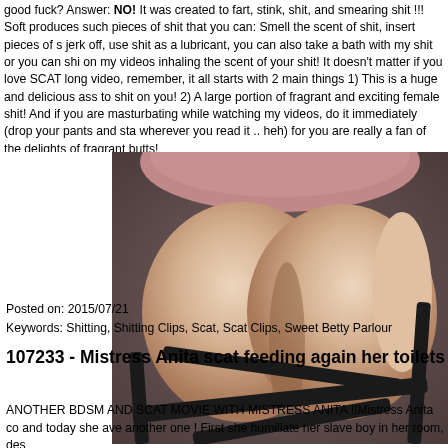good fuck? Answer: NO! It was created to fart, stink, shit, and smearing shit !!! Soft produces such pieces of shit that you can: Smell the scent of shit, insert pieces of s jerk off, use shit as a lubricant, you can also take a bath with my shit or you can shi on my videos inhaling the scent of your shit! It doesn't matter if you love SCAT long video, remember, it all starts with 2 main things 1) This is a huge and delicious ass to shit on you! 2) A large portion of fragrant and exciting female shit! And if you are masturbating while watching my videos, do it immediately (drop your pants and sta wherever you read it .. heh) for you are really a fan of the delights of fragrant butts!
[Figure (photo): Photo of a woman's buttocks wearing black strappy lingerie against a brown/mauve background]
Posted on: 2015/07/21
Keywords: Shitting, Shitting Clips, Scat, Scat Clips, Sweet Betty Parlour
107233 - Mistress Anita scat feeding again her toilets
ANOTHER BDSM AND SCAT MOVIE WITH MISTRESS ANITA !!Mistress Anita co and today she ave another one ! First she humiliate her slave boy in her room, des